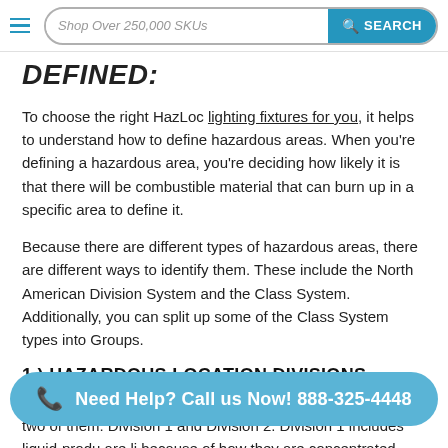Shop Over 250,000 SKUs  SEARCH
DEFINED:
To choose the right HazLoc lighting fixtures for you, it helps to understand how to define hazardous areas. When you're defining a hazardous area, you're deciding how likely it is that there will be combustible material that can burn up in a specific area to define it.
Because there are different types of hazardous areas, there are different ways to identify them. These include the North American Division System and the Class System. Additionally, you can split up some of the Class System types into Groups.
1.) HAZARDOUS LOCATION DIVISIONS
When it comes to hazardous location divisions, there are two of them: Division 1 and Division 2. Division 1 includes liquid-produ are li because of how they are concentrated. During normal